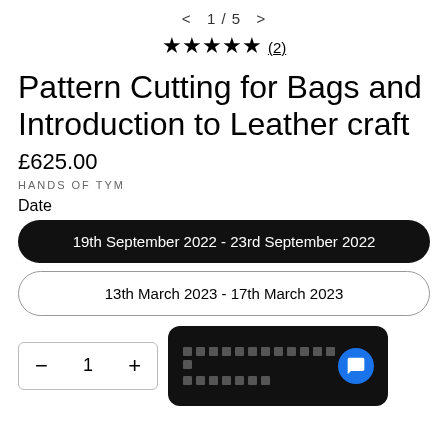< 1 / 5 >
★★★★★ (2)
Pattern Cutting for Bags and Introduction to Leather craft
£625.00
HANDS OF TYM
Date
19th September 2022 - 23rd September 2022
13th March 2023 - 17th March 2023
1